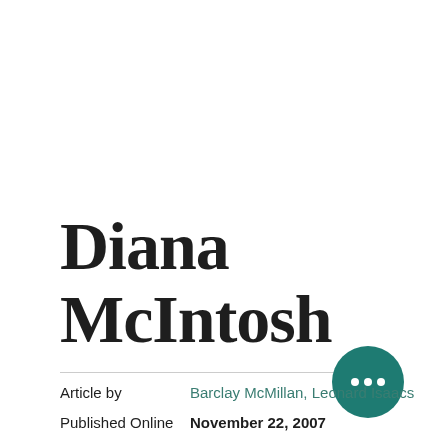Diana McIntosh
Article by	Barclay McMillan, Leonard Isaacs
Published Online	November 22, 2007